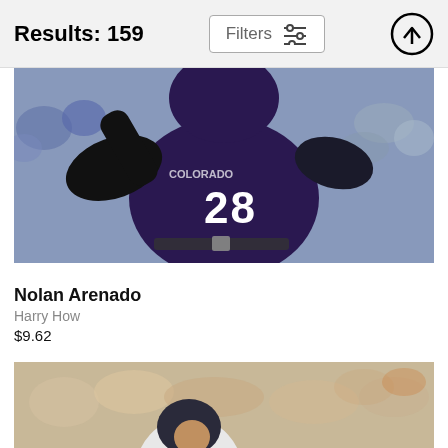Results: 159
Filters
[Figure (photo): Baseball player wearing Colorado Rockies jersey number 28 (Nolan Arenado) swinging or following through, crowd in background]
Nolan Arenado
Harry How
$9.62
[Figure (photo): Baseball player in white uniform and dark helmet swinging a bat, large crowd in background at stadium]